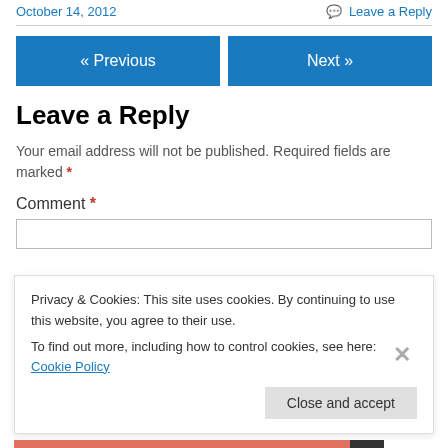October 14, 2012 | Leave a Reply
« Previous | Next »
Leave a Reply
Your email address will not be published. Required fields are marked *
Comment *
Privacy & Cookies: This site uses cookies. By continuing to use this website, you agree to their use. To find out more, including how to control cookies, see here: Cookie Policy
Close and accept